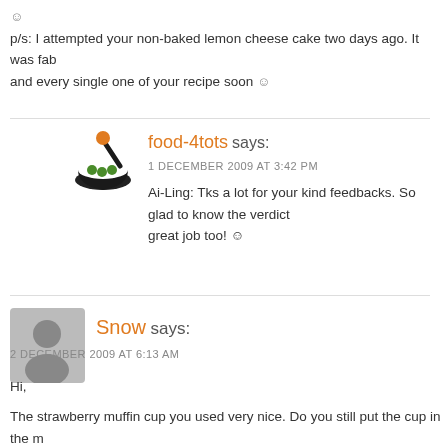p/s: I attempted your non-baked lemon cheese cake two days ago. It was fab and every single one of your recipe soon 😊
[Figure (logo): food-4tots logo: a mortar and pestle with green and orange dots]
food-4tots says:
1 DECEMBER 2009 AT 3:42 PM
Ai-Ling: Tks a lot for your kind feedbacks. So glad to know the verdict great job too! 🙂
[Figure (illustration): Generic user avatar grey silhouette]
Snow says:
2 DECEMBER 2009 AT 6:13 AM
Hi,
The strawberry muffin cup you used very nice. Do you still put the cup in the m